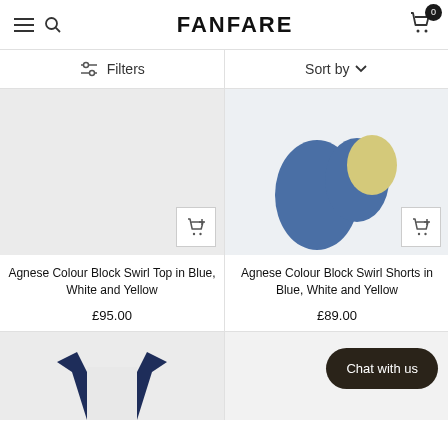FANFARE
Filters
Sort by
[Figure (photo): Product image for Agnese Colour Block Swirl Top in Blue, White and Yellow - light grey background]
Agnese Colour Block Swirl Top in Blue, White and Yellow
£95.00
[Figure (photo): Product image for Agnese Colour Block Swirl Shorts in Blue, White and Yellow - showing blue and yellow colour blocks]
Agnese Colour Block Swirl Shorts in Blue, White and Yellow
£89.00
[Figure (photo): Bottom left product image showing navy top]
[Figure (photo): Bottom right product image]
Chat with us